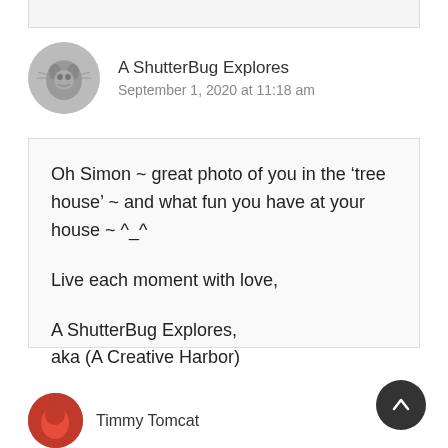[Figure (photo): Circular avatar image of A ShutterBug Explores — grayscale photo of a cat or animal]
A ShutterBug Explores
September 1, 2020 at 11:18 am
Oh Simon ~ great photo of you in the ‘tree house’ ~ and what fun you have at your house ~ ^_^

Live each moment with love,

A ShutterBug Explores,
aka (A Creative Harbor)
[Figure (photo): Partial circular avatar image at bottom left, red/dark colors — next commenter Timmy Tomcat]
Timmy Tomcat